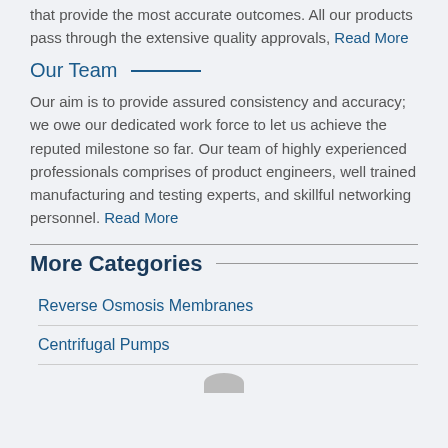that provide the most accurate outcomes. All our products pass through the extensive quality approvals, Read More
Our Team
Our aim is to provide assured consistency and accuracy; we owe our dedicated work force to let us achieve the reputed milestone so far. Our team of highly experienced professionals comprises of product engineers, well trained manufacturing and testing experts, and skillful networking personnel. Read More
More Categories
Reverse Osmosis Membranes
Centrifugal Pumps